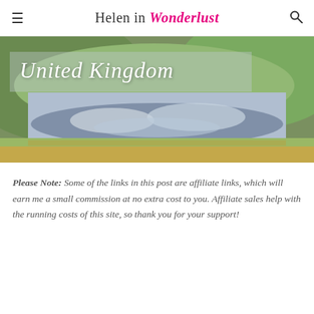Helen in Wonderlust
[Figure (photo): Scenic United Kingdom landscape photo showing a reflective lake or reservoir surrounded by green hills and golden grassland, with a semi-transparent overlay box containing the cursive text 'United Kingdom']
Please Note: Some of the links in this post are affiliate links, which will earn me a small commission at no extra cost to you. Affiliate sales help with the running costs of this site, so thank you for your support!